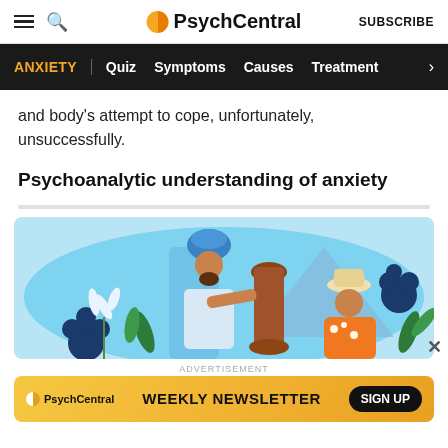PsychCentral — SUBSCRIBE
ANXIETY | Quiz  Symptoms  Causes  Treatment >
and body's attempt to cope, unfortunately, unsuccessfully.
Psychoanalytic understanding of anxiety
[Figure (illustration): Illustration of two people in a colorful scene with flowers and plants on a light blue background. One person wears a blue turban and holds a large brown vase, the other wears an orange floral shirt and a white hat.]
ADVERTISEMENT
[Figure (infographic): PsychCentral Weekly Newsletter ad banner with sign up button on yellow/orange gradient background.]